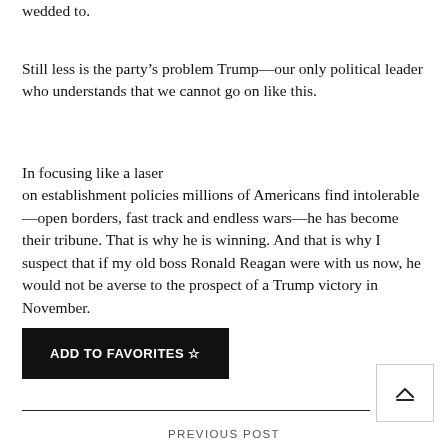wedded to.
Still less is the party’s problem Trump—our only political leader who understands that we cannot go on like this.
In focusing like a laser on establishment policies millions of Americans find intolerable—open borders, fast track and endless wars—he has become their tribune. That is why he is winning. And that is why I suspect that if my old boss Ronald Reagan were with us now, he would not be averse to the prospect of a Trump victory in November.
ADD TO FAVORITES ☆
PREVIOUS POST